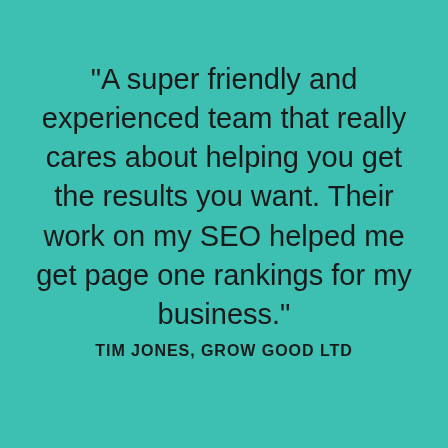“A super friendly and experienced team that really cares about helping you get the results you want.  Their work on my SEO helped me get page one rankings for my business.”
TIM JONES, GROW GOOD LTD